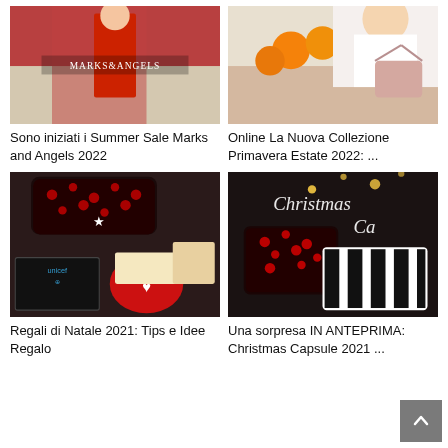[Figure (photo): Fashion photo with red dress, Marks and Angels branding overlay]
Sono iniziati i Summer Sale Marks and Angels 2022
[Figure (photo): Woman in white top with pink handbag and oranges on table]
Online La Nuova Collezione Primavera Estate 2022: ...
[Figure (photo): Gift items including patterned case, UNICEF box, heart dish, food items]
Regali di Natale 2021: Tips e Idee Regalo
[Figure (photo): Christmas Capsule items with leopard print and zebra stripe bags, Christmas Ca text overlay]
Una sorpresa IN ANTEPRIMA: Christmas Capsule 2021 ...